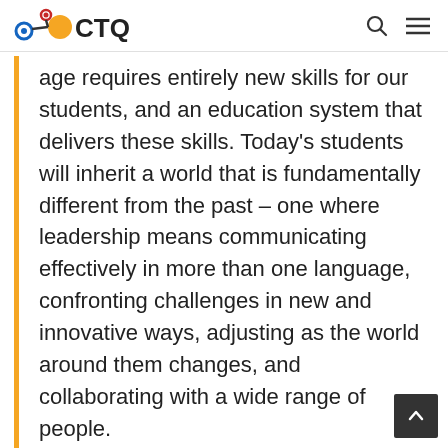CTQ
age requires entirely new skills for our students, and an education system that delivers these skills. Today's students will inherit a world that is fundamentally different from the past – one where leadership means communicating effectively in more than one language, confronting challenges in new and innovative ways, adjusting as the world around them changes, and collaborating with a wide range of people.